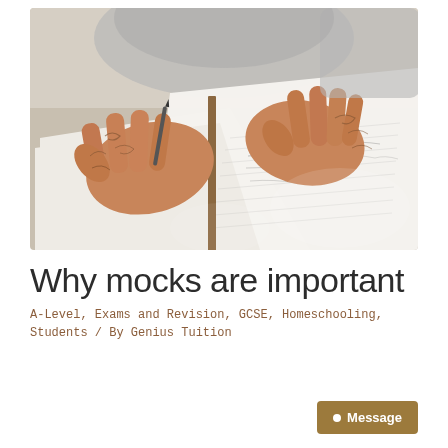[Figure (photo): Close-up photo of tattooed hands of a person writing/studying, with open notebooks and papers spread on a desk]
Why mocks are important
A-Level, Exams and Revision, GCSE, Homeschooling, Students / By Genius Tuition